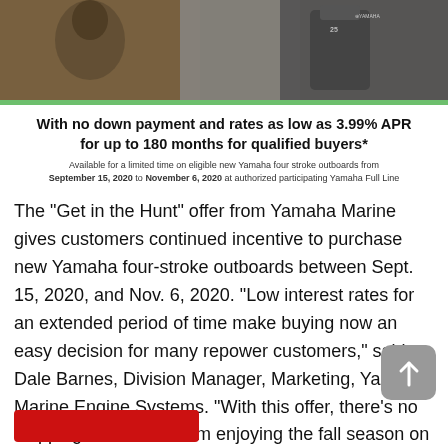[Figure (photo): Photo of hunters in camouflage and Yamaha outboard motor]
With no down payment and rates as low as 3.99% APR for up to 180 months for qualified buyers*
Available for a limited time on eligible new Yamaha four stroke outboards from September 15, 2020 to November 6, 2020 at authorized participating Yamaha Full Line
The “Get in the Hunt” offer from Yamaha Marine gives customers continued incentive to purchase new Yamaha four-stroke outboards between Sept. 15, 2020, and Nov. 6, 2020. “Low interest rates for an extended period of time make buying now an easy decision for many repower customers,” said Dale Barnes, Division Manager, Marketing, Yamaha Marine Engine Systems. “With this offer, there’s no stopping customers from enjoying the fall season on the water.” “Get in the Hunt” applies to eligible, new Yamaha…